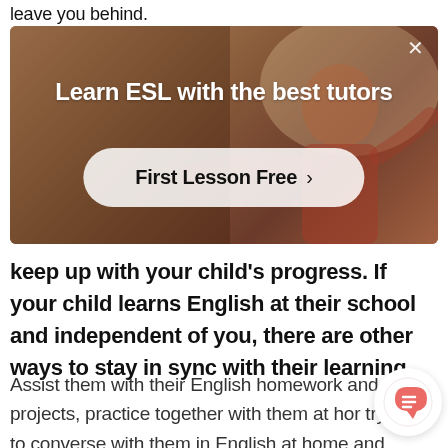leave you behind.
[Figure (screenshot): Advertisement banner with a woman in a red dress teaching ESL, showing text 'Learn ESL with the best tutors' and a 'First Lesson Free >' button, with an X close button]
keep up with your child's progress. If your child learns English at their school and independent of you, there are other ways to stay in sync with their learning.
Assist them with their English homework and projects, practice together with them at hor try to converse with them in English at home and